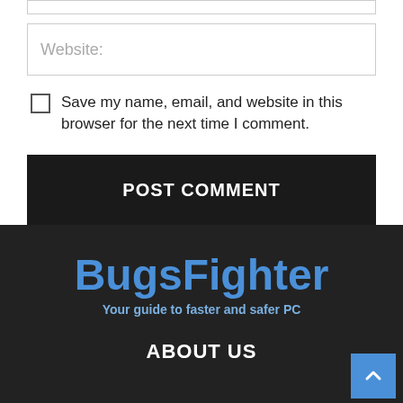[Figure (screenshot): Top border input bar (partial, cropped at top of page)]
Website:
Save my name, email, and website in this browser for the next time I comment.
POST COMMENT
BugsFighter
Your guide to faster and safer PC
ABOUT US